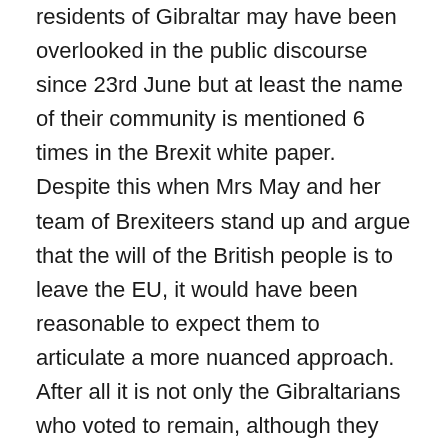residents of Gibraltar may have been overlooked in the public discourse since 23rd June but at least the name of their community is mentioned 6 times in the Brexit white paper. Despite this when Mrs May and her team of Brexiteers stand up and argue that the will of the British people is to leave the EU, it would have been reasonable to expect them to articulate a more nuanced approach. After all it is not only the Gibraltarians who voted to remain, although they are unique in terms of the proportion who voted to stay. Whilst the proportion of voters in Ireland and Scotland who voted to remain in the EU was much less than those voting to do so in Gibraltar, they are nations that make up the United Kingdom and so have significantly more impact on the UK as a whole than Gibraltar does. The Scots and Irish along with the Gibraltarians are not alone in having voted to remain in the